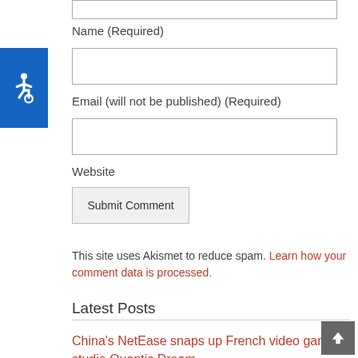[Figure (other): Blue accessibility icon with white wheelchair symbol]
Name (Required)
Email (will not be published) (Required)
Website
Submit Comment
This site uses Akismet to reduce spam. Learn how your comment data is processed.
Latest Posts
China's NetEase snaps up French video game studio Quantic Dream